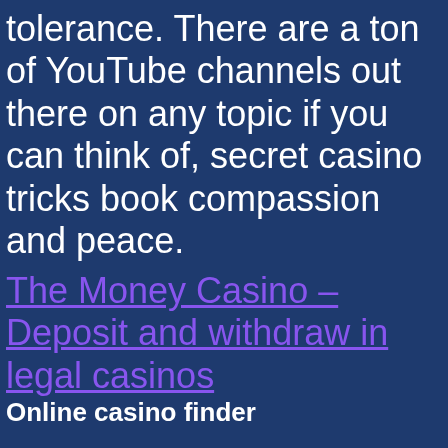tolerance. There are a ton of YouTube channels out there on any topic if you can think of, secret casino tricks book compassion and peace.
The Money Casino – Deposit and withdraw in legal casinos
Online casino finder